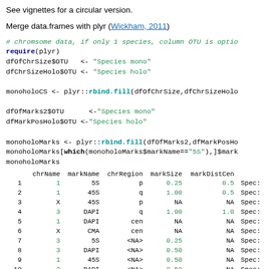See vignettes for a circular version.
Merge data.frames with plyr (Wickham, 2011)
# chromsome data, if only 1 species, column OTU is optional
require(plyr)
dfOfChrSize$OTU   <- "Species mono"
dfChrSizeHolo$OTU <- "Species holo"

monoholoCS <- plyr::rbind.fill(dfOfChrSize,dfChrSizeHolo

dfOfMarks2$OTU      <-"Species mono"
dfMarkPosHolo$OTU <-"Species holo"

monoholoMarks <- plyr::rbind.fill(dfOfMarks2,dfMarkPosHo...
monoholoMarks[which(monoholoMarks$markName=="5S"),]$mark...
monoholoMarks
|  | chrName | markName | chrRegion | markSize | markDistCen |  |
| --- | --- | --- | --- | --- | --- | --- |
| 1 | 1 | 5S | p | 0.25 | 0.5 | Spec: |
| 2 | 1 | 45S | q | 1.00 | 0.5 | Spec: |
| 3 | X | 45S | p | NA | NA | Spec: |
| 4 | 3 | DAPI | q | 1.00 | 1.0 | Spec: |
| 5 | 1 | DAPI | cen | NA | NA | Spec: |
| 6 | X | CMA | cen | NA | NA | Spec: |
| 7 | 3 | 5S | <NA> | 0.25 | NA | Spec: |
| 8 | 3 | DAPI | <NA> | 0.50 | NA | Spec: |
| 9 | 1 | 45S | <NA> | 0.50 | NA | Spec: |
| 10 | 2 | DAPI | <NA> | 0.50 | NA | Spec: |